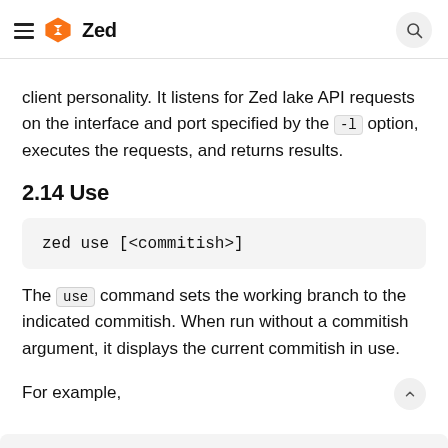Zed
client personality. It listens for Zed lake API requests on the interface and port specified by the -l option, executes the requests, and returns results.
2.14 Use
zed use [<commitish>]
The use command sets the working branch to the indicated commitish. When run without a commitish argument, it displays the current commitish in use.
For example,